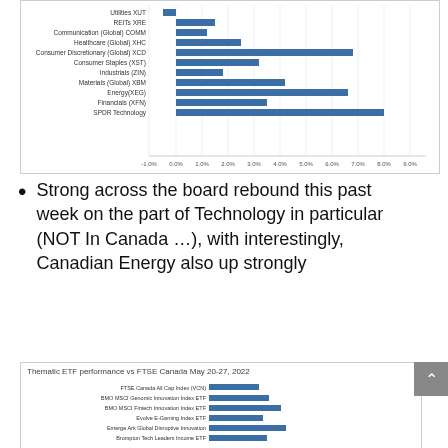[Figure (bar-chart): Sector ETF performance (partial, top of page)]
Strong across the board rebound this past week on the part of Technology in particular (NOT In Canada …), with interestingly, Canadian Energy also up strongly
[Figure (bar-chart): Thematic ETF performance vs FTSE Canada May 20-27, 2022]